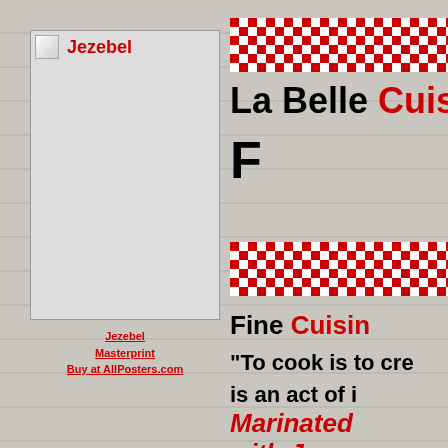[Figure (illustration): Brick wall background with white/gray tones]
[Figure (photo): Image placeholder with red title Jezebel]
Jezebel
Masterprint
Buy at AllPosters.com
[Figure (illustration): Red and white checkerboard decorative strip 1]
La Belle Cuisine
F
[Figure (illustration): Red and white checkerboard decorative strip 2]
Fine Cuisine
"To cook is to cre... is an act of i...
Marinated... with J...